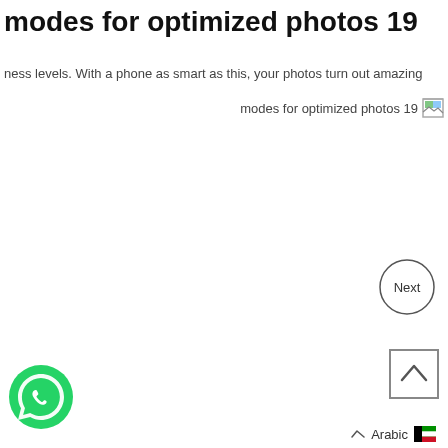modes for optimized photos 19
ness levels. With a phone as smart as this, your photos turn out amazing
modes for optimized photos 19
[Figure (other): Next button — circle with text 'Next' inside]
[Figure (other): Scroll-to-top button — square with upward caret]
[Figure (other): WhatsApp floating button — green circle with phone icon]
Arabic